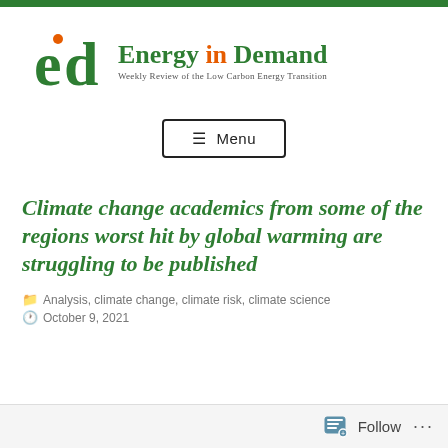[Figure (logo): Energy in Demand logo — stylized 'ed' letters with a green 'd' and orange dot on the 'e', beside the text 'Energy in Demand' and subtitle 'Weekly Review of the Low Carbon Energy Transition']
Climate change academics from some of the regions worst hit by global warming are struggling to be published
Analysis, climate change, climate risk, climate science
October 9, 2021
Follow ...